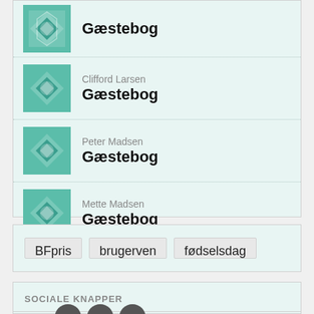Gæstebog
Clifford Larsen
Gæstebog
Peter Madsen
Gæstebog
Mette Madsen
Gæstebog
BFpris
brugerven
fødselsdag
SOCIALE KNAPPER